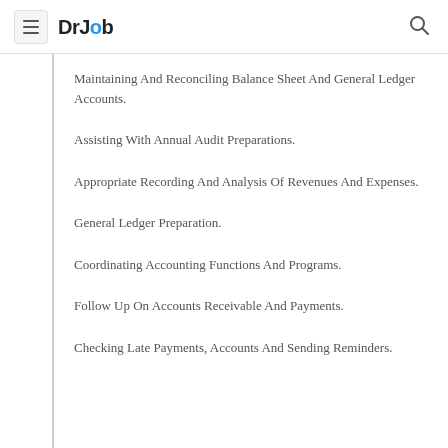DrJob
Maintaining And Reconciling Balance Sheet And General Ledger Accounts.
Assisting With Annual Audit Preparations.
Appropriate Recording And Analysis Of Revenues And Expenses.
General Ledger Preparation.
Coordinating Accounting Functions And Programs.
Follow Up On Accounts Receivable And Payments.
Checking Late Payments, Accounts And Sending Reminders.